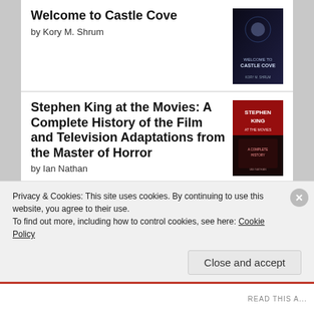Welcome to Castle Cove by Kory M. Shrum
Stephen King at the Movies: A Complete History of the Film and Television Adaptations from the Master of Horror by Ian Nathan
Good Omens by Terry Pratchett
The Complete X-Files by Matt Hurwitz
Privacy & Cookies: This site uses cookies. By continuing to use this website, you agree to their use.
To find out more, including how to control cookies, see here: Cookie Policy
Close and accept